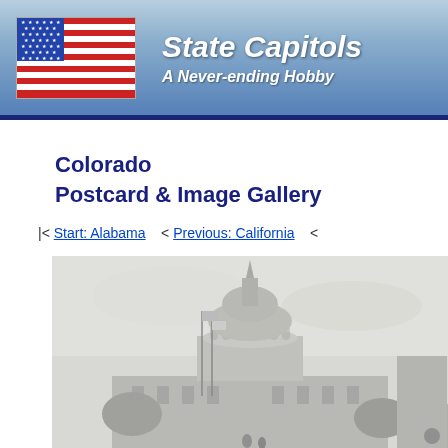State Capitols — A Never-ending Hobby
Colorado
Postcard & Image Gallery
|< Start: Alabama    < Previous: California    <
[Figure (photo): Black and white historical photograph of the Colorado State Capitol building dome]